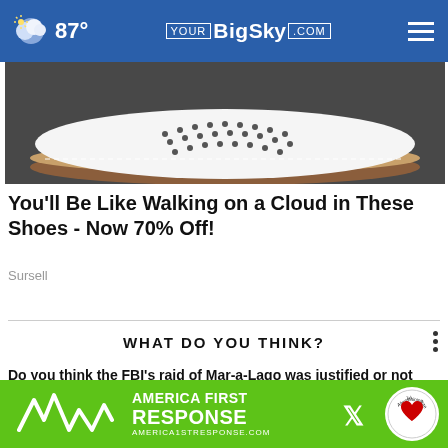87° YourBigSky.com
[Figure (photo): Close-up photo of a white perforated leather shoe with brown rubber sole on dark background]
You'll Be Like Walking on a Cloud in These Shoes - Now 70% Off!
Sursell
WHAT DO YOU THINK?
Do you think the FBI's raid of Mar-a-Lago was justified or not justified?
Totally justified
[Figure (logo): America First Response advertisement banner with green background, logo, X social media icon, and Aligned Training Site badge. URL: AMERICA1STRESPONSE.COM]